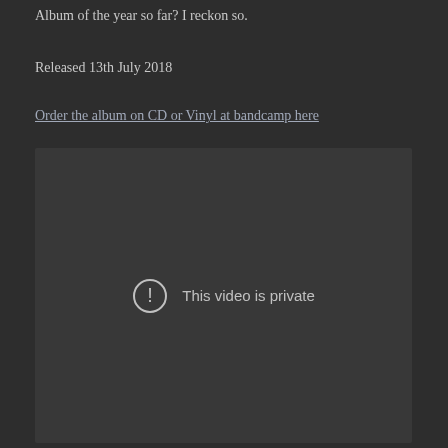Album of the year so far? I reckon so.
Released 13th July 2018
Order the album on CD or Vinyl at bandcamp here
[Figure (screenshot): Embedded video player showing 'This video is private' error message with an exclamation mark icon in a circle]